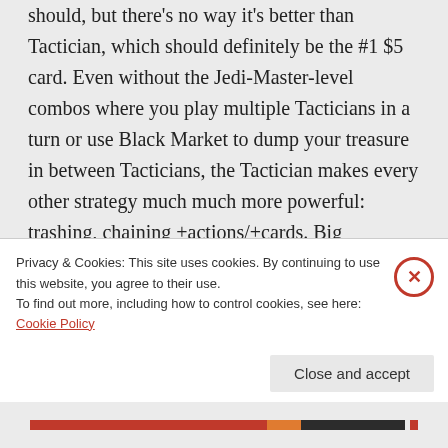should, but there's no way it's better than Tactician, which should definitely be the #1 $5 card. Even without the Jedi-Master-level combos where you play multiple Tacticians in a turn or use Black Market to dump your treasure in between Tacticians, the Tactician makes every other strategy much much more powerful: trashing, chaining +actions/+cards. Big
Privacy & Cookies: This site uses cookies. By continuing to use this website, you agree to their use.
To find out more, including how to control cookies, see here: Cookie Policy
Close and accept